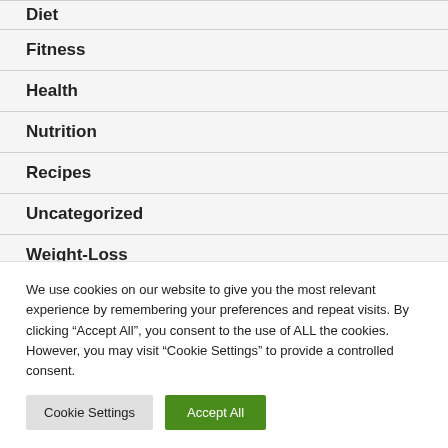Diet
Fitness
Health
Nutrition
Recipes
Uncategorized
Weight-Loss
We use cookies on our website to give you the most relevant experience by remembering your preferences and repeat visits. By clicking “Accept All”, you consent to the use of ALL the cookies. However, you may visit “Cookie Settings” to provide a controlled consent.
Cookie Settings | Accept All